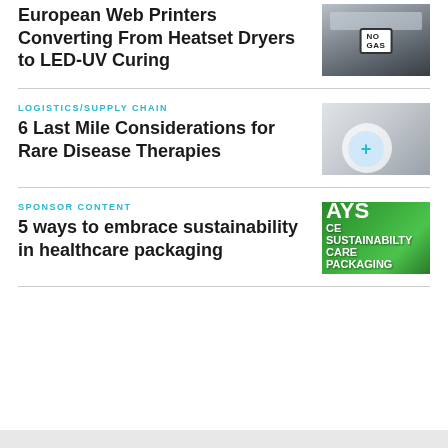European Web Printers Converting From Heatset Dryers to LED-UV Curing
[Figure (photo): Industrial gas-related image with NO GAS sign]
LOGISTICS/SUPPLY CHAIN
6 Last Mile Considerations for Rare Disease Therapies
[Figure (photo): Person in white coat and mask handling medical product]
SPONSOR CONTENT
5 ways to embrace sustainability in healthcare packaging
[Figure (photo): Green background with text AYS CE SUSTAINABILTY CARE PACKAGING]